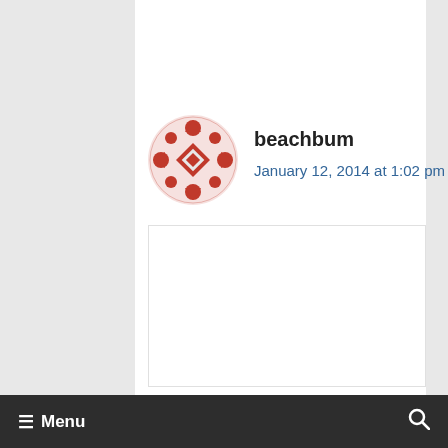[Figure (illustration): Avatar icon for user beachbum - red/terracotta decorative snowflake/geometric pattern in a circle]
beachbum
January 12, 2014 at 1:02 pm
+2
[Figure (illustration): Avatar icon for user Chris - green geometric pattern in a circle]
Chris
January 12, 2014 at 2:34 pm
Menu